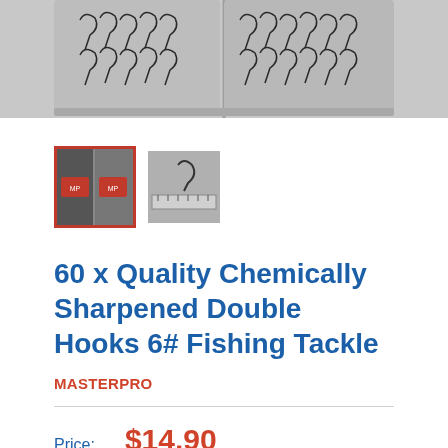[Figure (photo): Top portion of product photo showing fishing double hooks in a clear plastic container tray, dark/black hooks on grey background]
[Figure (photo): Thumbnail 1 (selected, red border): product packaging showing hooks with red label MASTERPRO branding]
[Figure (photo): Thumbnail 2: fishing hooks against a ruler/measurement scale]
60 x Quality Chemically Sharpened Double Hooks 6# Fishing Tackle
MASTERPRO
Price:  $14.90